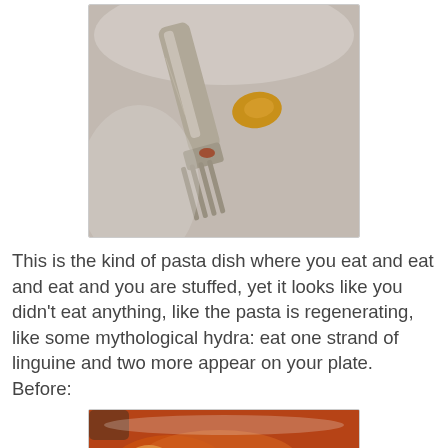[Figure (photo): Close-up photo of a silver fork with a small piece of pasta/food on it, held against a white plate background]
This is the kind of pasta dish where you eat and eat and eat and you are stuffed, yet it looks like you didn't eat anything, like the pasta is regenerating, like some mythological hydra: eat one strand of linguine and two more appear on your plate. Before:
[Figure (photo): Photo of a plate of pasta with tomato sauce, seafood, and linguine noodles]